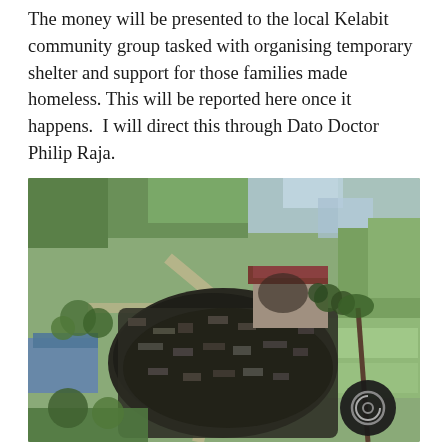The money will be presented to the local Kelabit community group tasked with organising temporary shelter and support for those families made homeless. This will be reported here once it happens.  I will direct this through Dato Doctor Philip Raja.
[Figure (photo): Aerial photograph showing a fire-devastated site surrounded by tropical vegetation, rice fields, and farm structures. The center shows a large area of burned rubble and ash where structures once stood, with a surviving building with a dark red roof nearby. Dirt roads, palm trees, and green plots are visible around the periphery. A circular watermark/logo overlay is in the bottom-right corner.]